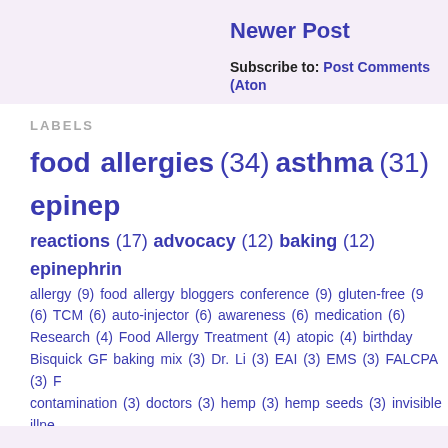Newer Post
Subscribe to: Post Comments (Atom)
LABELS
food allergies (34) asthma (31) epinephrine reactions (17) advocacy (12) baking (12) epinephrine allergy (9) food allergy bloggers conference (9) gluten-free (9) (6) TCM (6) auto-injector (6) awareness (6) medication (6) Research (4) Food Allergy Treatment (4) atopic (4) birthday Bisquick GF baking mix (3) Dr. Li (3) EAI (3) EMS (3) FALCPA (3) contamination (3) doctors (3) hemp (3) hemp seeds (3) invisible illness (3) vacation (3) vaccines (3) wheeze (3) AAAAI (2) Allergy Town (2) B- (2) Zyrtec (2) accommodations (2) adult allergy (2) allergic rhinitis cupcakes (2) dairy-free (2) ear infections (2) emergency (2) flax milk nebulizer (2) oat milk (2) outgrowing allergies (2) party (2) rash (2) sun protection (2) sunscreen (2) sweet potato (2) traditional chinese Attune Foods (1) Chuck E. Cheese's (1) Claritin (1) EI-OIT (1) EPIT (1) Enjoy